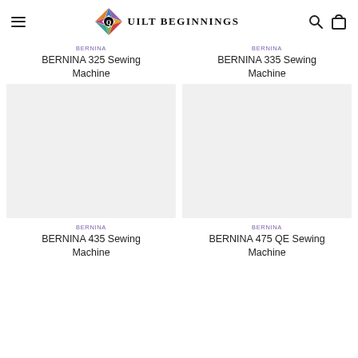Quilt Beginnings
BERNINA
BERNINA 325 Sewing Machine
BERNINA
BERNINA 335 Sewing Machine
[Figure (photo): Product image placeholder (gray box) for BERNINA 435 Sewing Machine]
[Figure (photo): Product image placeholder (gray box) for BERNINA 475 QE Sewing Machine]
BERNINA
BERNINA 435 Sewing Machine
BERNINA
BERNINA 475 QE Sewing Machine